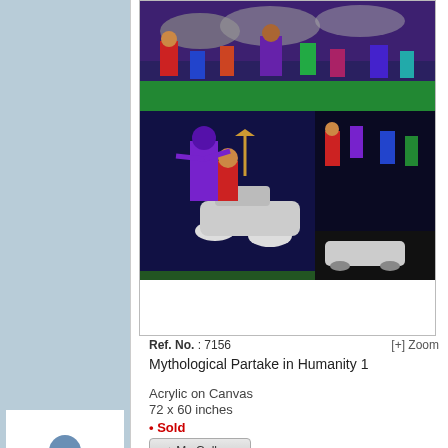[Figure (photo): Indian mythological art painting - colorful figures with deity and people on scooter, vibrant colors]
Ref. No. : 7156    [+] Zoom
Mythological Partake in Humanity 1
Acrylic on Canvas
72 x 60 inches
• Sold
[Figure (illustration): Blue silhouette person icon - user profile placeholder]
[Figure (illustration): Two-tone blue/red person icon - couple or social icon]
[Figure (illustration): Grid of circles - two grey circles and one red circle in dotted border box, selected/active state]
[Figure (photo): Second painting - dark night scene with figures and colorful elements]